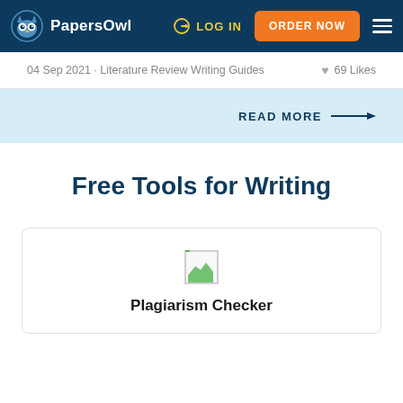PapersOwl — LOG IN | ORDER NOW
04 Sep 2021 · Literature Review Writing Guides    ♥ 69 Likes
READ MORE →
Free Tools for Writing
Plagiarism Checker